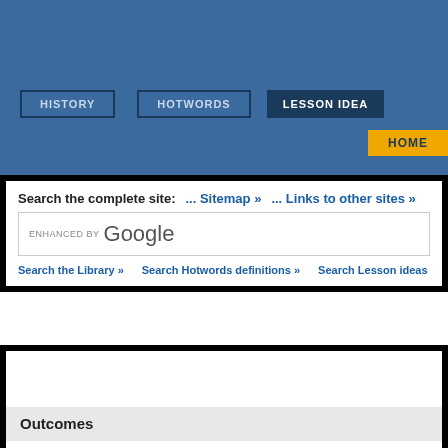HISTORY | HOTWORDS | LESSON IDEAS | HOME
Search the complete site: ... Sitemap » ... Links to other sites »
[Figure (screenshot): ENHANCED BY Google search box]
Search the Library » | Search Hotwords definitions » | Search Lesson ideas
Outcomes
History
4.4 identifies major periods of historical time and sequences people and events
4.7 identifies different contexts, perspectives and interpretations of the past
5.4 sequences major historical events to show an understanding of continuity, c
5.7 explains different contexts, perspectives and interpretations of the past
Geography
5.2 analyses, organises and synthesises geographical information